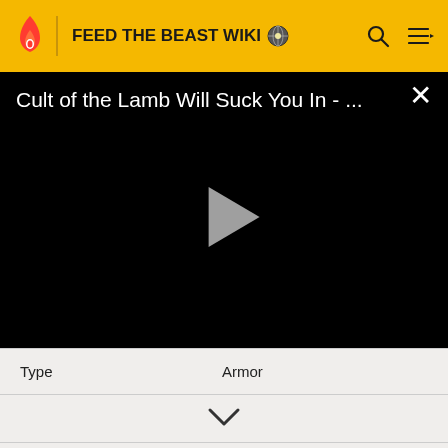FEED THE BEAST WIKI
[Figure (screenshot): Video player showing 'Cult of the Lamb Will Suck You In - ...' with a play button and close (X) button]
| Type | Armor |
| --- | --- |
The Reinforced Golden Boots is an armor piece added